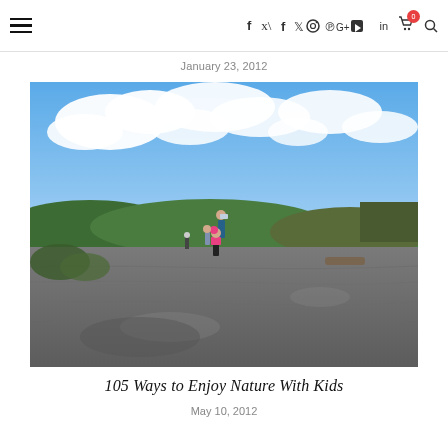≡  f  🐦  ⊙  ⊕  G+  ▶  in  🛒⁰  🔍
January 23, 2012
[Figure (photo): Children and adult walking across a large flat granite rock outcrop with a blue sky, white clouds, green hills and trees in the background.]
105 Ways to Enjoy Nature With Kids
May 10, 2012